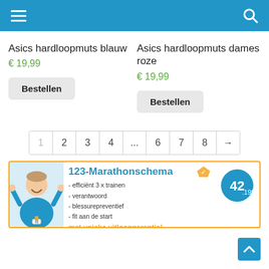Navigation bar with hamburger menu and search icon
Asics hardloopmuts blauw
€ 19,99
Asics hardloopmuts dames roze
€ 19,99
Bestellen (blauw)
Bestellen (dames roze)
1 2 3 4 ... 6 7 8 →
[Figure (infographic): 123-Marathonschema advertisement banner with a runner/athlete in blue shirt, bullet points: efficiënt 3x trainen, verantwoord, blessurepreventief, fit aan de start, and logo 42.195, with text: met unieke uitloopgarantie!]